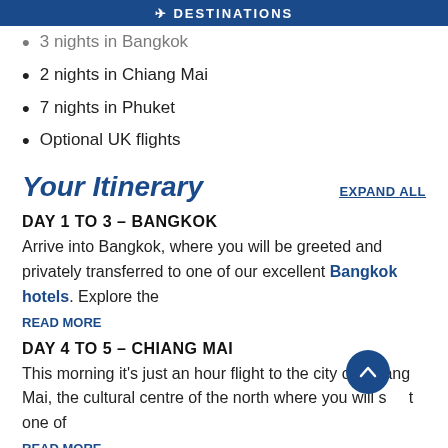DESTINATIONS
3 nights in Bangkok (partially visible)
2 nights in Chiang Mai
7 nights in Phuket
Optional UK flights
Your Itinerary
DAY 1 TO 3 – BANGKOK
Arrive into Bangkok, where you will be greeted and privately transferred to one of our excellent Bangkok hotels. Explore the
READ MORE
DAY 4 TO 5 – CHIANG MAI
This morning it's just an hour flight to the city of Chiang Mai, the cultural centre of the north where you will s t one of
READ MORE
DAY 6 TO 10 – PHUKET (partially visible)